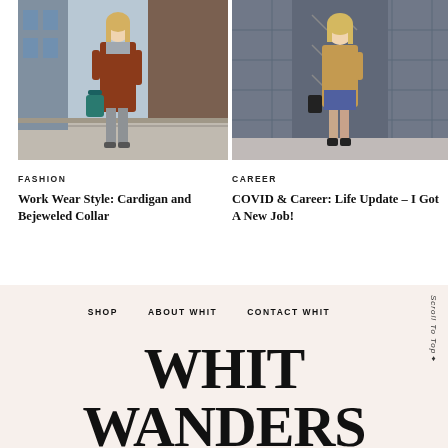[Figure (photo): Woman in rust-colored long cardigan coat and grey trousers carrying a teal bag, standing on a sidewalk outside a building]
[Figure (photo): Woman in camel coat over a plaid dress, standing in front of a glass building entrance]
FASHION
Work Wear Style: Cardigan and Bejeweled Collar
CAREER
COVID & Career: Life Update – I Got A New Job!
SHOP   ABOUT WHIT   CONTACT WHIT   Scroll To Top♦   WHIT WANDERS